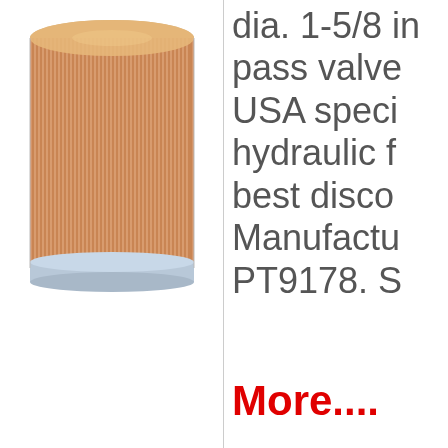[Figure (photo): A cylindrical hydraulic filter element with orange/tan pleated filter media and a silver/grey metal band at the bottom, shown on a white background.]
dia. 1-5/8 in pass valve USA speci hydraulic f best disco Manufactu PT9178. S
More....